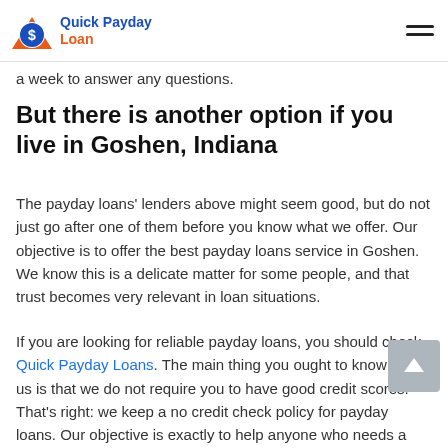Quick Payday Loan
a week to answer any questions.
But there is another option if you live in Goshen, Indiana
The payday loans' lenders above might seem good, but do not just go after one of them before you know what we offer. Our objective is to offer the best payday loans service in Goshen. We know this is a delicate matter for some people, and that trust becomes very relevant in loan situations.
If you are looking for reliable payday loans, you should check Quick Payday Loans. The main thing you ought to know about us is that we do not require you to have good credit scores. That's right: we keep a no credit check policy for payday loans. Our objective is exactly to help anyone who needs a loan, and especially those who are not eligible